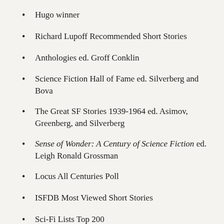Hugo winner
Richard Lupoff Recommended Short Stories
Anthologies ed. Groff Conklin
Science Fiction Hall of Fame ed. Silverberg and Bova
The Great SF Stories 1939-1964 ed. Asimov, Greenberg, and Silverberg
Sense of Wonder: A Century of Science Fiction ed. Leigh Ronald Grossman
Locus All Centuries Poll
ISFDB Most Viewed Short Stories
Sci-Fi Lists Top 200